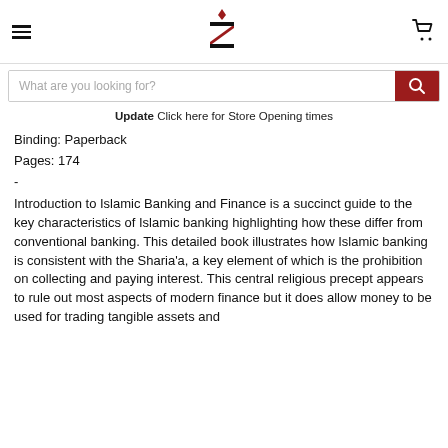[Figure (logo): Stylized letter Z logo with red diamond above, in dark red and black]
Binding: Paperback
Pages: 174
-
Introduction to Islamic Banking and Finance is a succinct guide to the key characteristics of Islamic banking highlighting how these differ from conventional banking. This detailed book illustrates how Islamic banking is consistent with the Sharia'a, a key element of which is the prohibition on collecting and paying interest. This central religious precept appears to rule out most aspects of modern finance but it does allow money to be used for trading tangible assets and